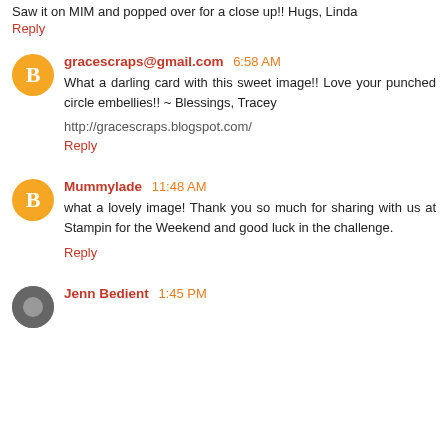Saw it on MIM and popped over for a close up!! Hugs, Linda
Reply
gracescraps@gmail.com 6:58 AM
What a darling card with this sweet image!! Love your punched circle embellies!! ~ Blessings, Tracey

http://gracescraps.blogspot.com/
Reply
Mummylade 11:48 AM
what a lovely image! Thank you so much for sharing with us at Stampin for the Weekend and good luck in the challenge.
Reply
Jenn Bedient 1:45 PM